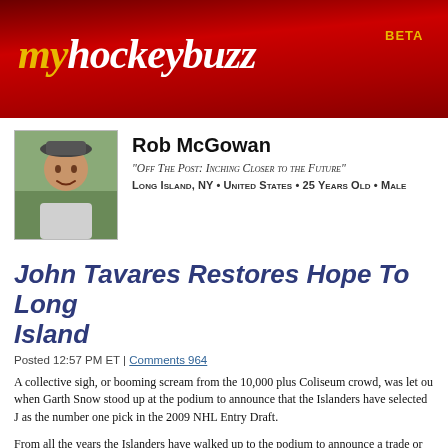myhockeybuzz BETA
[Figure (photo): Profile photo of Rob McGowan, a young man smiling outdoors]
Rob McGowan
"Off The Post: Inching Closer to the Future"
Long Island, NY • United States • 25 Years Old • Male
John Tavares Restores Hope To Long Island
Posted 12:57 PM ET | Comments 964
A collective sigh, or booming scream from the 10,000 plus Coliseum crowd, was let out when Garth Snow stood up at the podium to announce that the Islanders have selected J as the number one pick in the 2009 NHL Entry Draft.
From all the years the Islanders have walked up to the podium to announce a trade or se that shouldn't have been chosen (my favorite is seeing Scott Lachance drafted second ov Isles and Peter Forsberg taken seventh by the Flyers...ha!), this one can go down (most right move. Even if Tavares for some, unlikely reason turns out to be a total bust, the or its fans will still be able to say they made the right choice. All other 29 teams most likel done the same. Like I said in my last blog. You take the best player available, and that's the Islanders did.